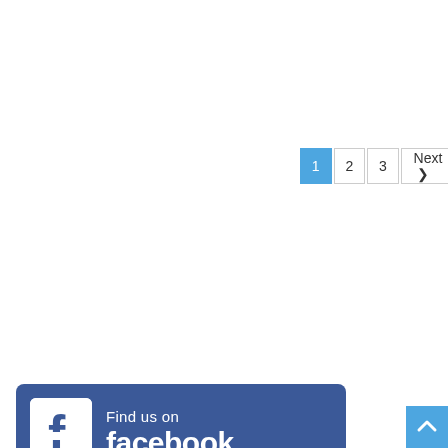[Figure (screenshot): Pagination controls showing page 1 (highlighted in blue), page 2, page 3, and a Next button with arrow]
[Figure (illustration): Facebook Find us on facebook banner with Facebook logo icon on blue background]
[Figure (infographic): Vote banner with yellow border showing 'Find a ballot in copies of Arts & Lifestyles thru October 19th!' and large red VOTE!! text with TBR seal logo]
[Figure (screenshot): Back to top button in light blue with white upward chevron arrow]